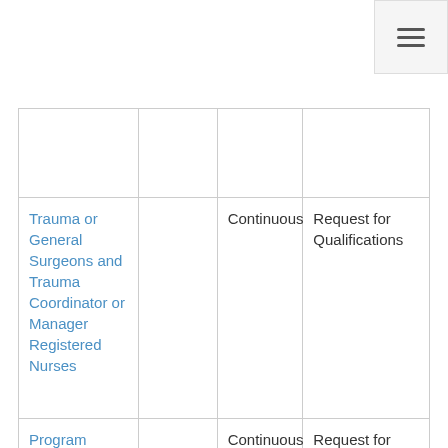|  |  |  |  |
| Trauma or General Surgeons and Trauma Coordinator or Manager Registered Nurses |  | Continuous | Request for Qualifications |
| Program Evaluations |  | Continuous | Request for Qualifications |